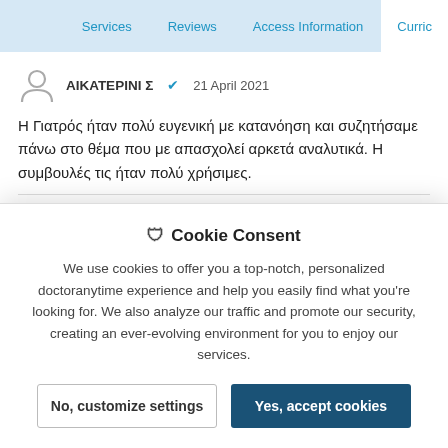Services | Reviews | Access Information | Curric...
ΑΙΚΑΤΕΡΙΝΙ Σ ✓ 21 April 2021
Η Γιατρός ήταν πολύ ευγενική με κατανόηση και συζητήσαμε πάνω στο θέμα που με απασχολεί αρκετά αναλυτικά. Η συμβουλές τις ήταν πολύ χρήσιμες.
10.0 ★★★★★
Μαρία Β ✓ 06 April 2021
Πολυ καλη ιατρός κατορτισμενη φιλική
🛡 Cookie Consent

We use cookies to offer you a top-notch, personalized doctoranytime experience and help you easily find what you're looking for. We also analyze our traffic and promote our security, creating an ever-evolving environment for you to enjoy our services.

No, customize settings | Yes, accept cookies